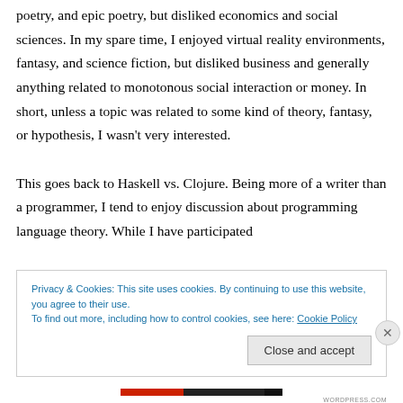poetry, and epic poetry, but disliked economics and social sciences. In my spare time, I enjoyed virtual reality environments, fantasy, and science fiction, but disliked business and generally anything related to monotonous social interaction or money. In short, unless a topic was related to some kind of theory, fantasy, or hypothesis, I wasn't very interested.

This goes back to Haskell vs. Clojure. Being more of a writer than a programmer, I tend to enjoy discussion about programming language theory. While I have participated
Privacy & Cookies: This site uses cookies. By continuing to use this website, you agree to their use.
To find out more, including how to control cookies, see here: Cookie Policy